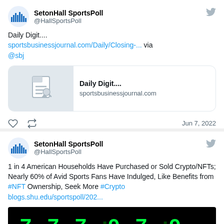[Figure (screenshot): Tweet from @HallSportsPoll SetonHall SportsPoll: 'Daily Digit.... sportsbusinessjournal.com/Daily/Closing-... via @sbj' with link preview card showing 'Daily Digit....' from sportsbusinessjournal.com and a document icon thumbnail. Dated Jun 7, 2022.]
[Figure (screenshot): Tweet from @HallSportsPoll SetonHall SportsPoll: '1 in 4 American Households Have Purchased or Sold Crypto/NFTs; Nearly 60% of Avid Sports Fans Have Indulged, Like Benefits from #NFT Ownership, Seek More #Crypto blogs.shu.edu/sportspoll/202...' followed by a black scoreboard-style image with green digital numbers.]